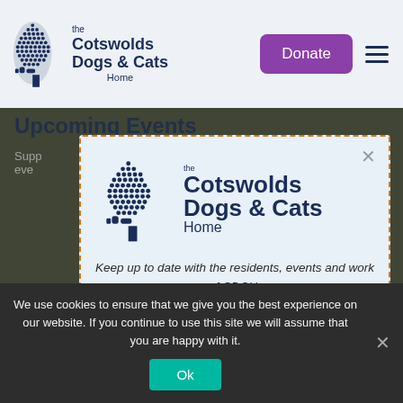[Figure (logo): The Cotswolds Dogs & Cats Home logo with tree illustration in header]
[Figure (screenshot): Donate button (purple) and hamburger menu icon in header]
Upcoming Events
Supp... eve...
[Figure (logo): Modal popup with The Cotswolds Dogs & Cats Home logo]
Keep up to date with the residents, events and work of CDCH.
Join our Newsletter
We use cookies to ensure that we give you the best experience on our website. If you continue to use this site we will assume that you are happy with it.
[Figure (other): Ok button for cookie consent]